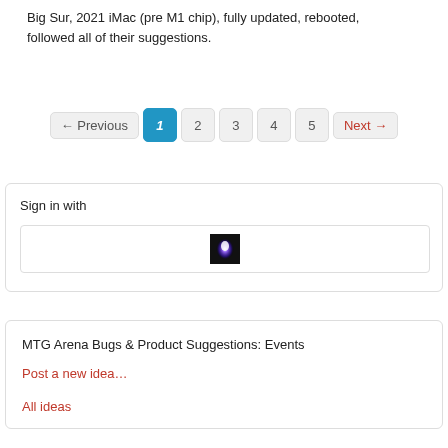Big Sur, 2021 iMac (pre M1 chip), fully updated, rebooted, followed all of their suggestions.
← Previous  1  2  3  4  5  Next →
Sign in with
[Figure (illustration): A small dark square icon with a bright purple/white glowing light in the center, resembling an Apple ID or sign-in button icon.]
MTG Arena Bugs & Product Suggestions: Events
Post a new idea…
All ideas